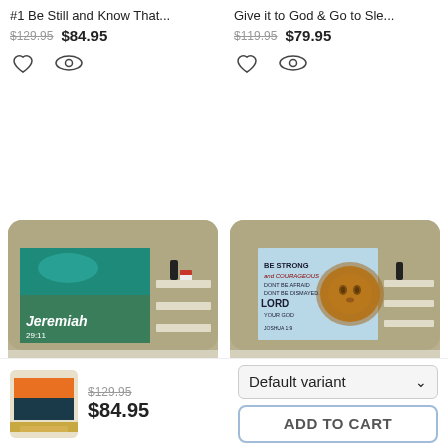#1 Be Still and Know That...
$129.95  $84.95
Give it to God & Go to Sle...
$119.95  $79.95
[Figure (photo): Room scene with a framed canvas print showing Jeremiah 29:11 scripture over aerial beach/tropical ocean view, mounted on wall above white furniture]
[Figure (photo): Room scene with a framed canvas print showing BE STRONG and COURAGEOUS, DONT BE AFRAID, DONT BE DISMAYED, LORD YOUR GOD, JOSHUA 1:9 with a lion face image, mounted on wall above white furniture]
[Figure (photo): Small thumbnail of a framed canvas sunset landscape artwork]
$129.95  $84.95
Default variant
ADD TO CART